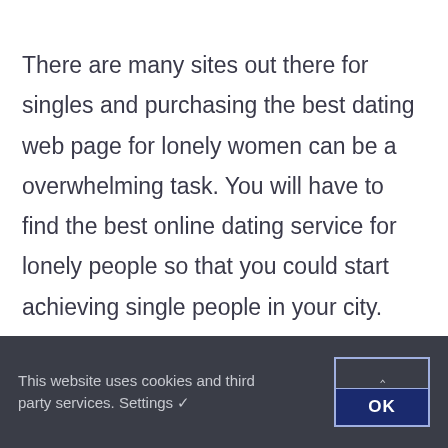There are many sites out there for singles and purchasing the best dating web page for lonely women can be a overwhelming task. You will have to find the best online dating service for lonely people so that you could start achieving single people in your city. Therefore , how do you select the right dating site for lonely hearts? The best online dating service for real love is the one that allows you to search through a substantial and mixed user data source. You should also manage to join and browse the internet dating site without
This website uses cookies and third party services. Settings ✓  OK